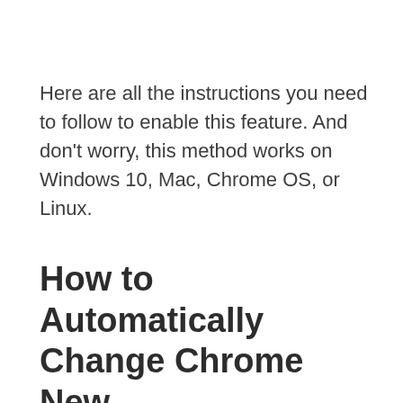Here are all the instructions you need to follow to enable this feature. And don't worry, this method works on Windows 10, Mac, Chrome OS, or Linux.
How to Automatically Change Chrome New